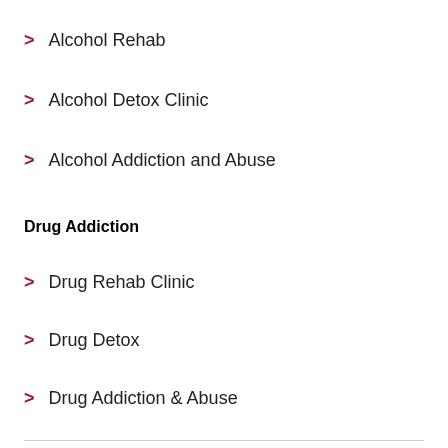Alcohol Rehab
Alcohol Detox Clinic
Alcohol Addiction and Abuse
Drug Addiction
Drug Rehab Clinic
Drug Detox
Drug Addiction & Abuse
Related Areas